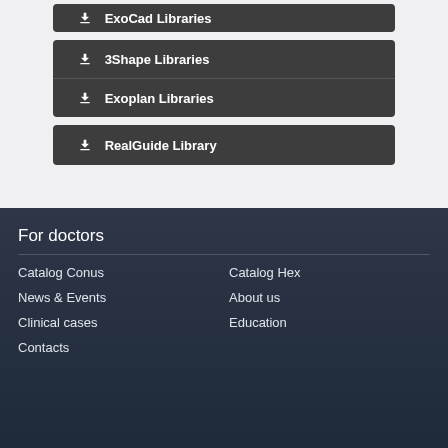ExoCad Libraries
3Shape Libraries
Exoplan Libraries
RealGuide Library
For doctors
Catalog Conus
Catalog Hex
News & Events
About us
Clinical cases
Education
Contacts